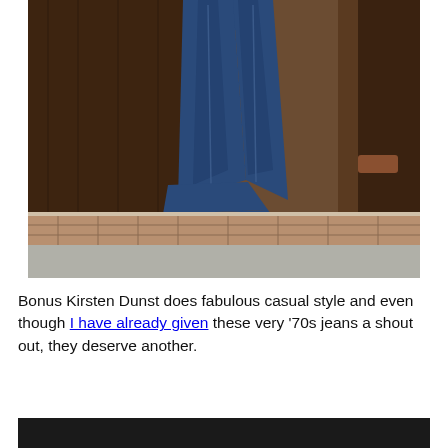[Figure (photo): Photo of Kirsten Dunst from the waist down, wearing dark blue flared/bell-bottom jeans and black open-toe heeled sandals, walking on a sidewalk in front of a dark wood-paneled building entrance.]
Bonus Kirsten Dunst does fabulous casual style and even though I have already given these very ’70s jeans a shout out, they deserve another.
[Figure (photo): Bottom portion of another photo, mostly dark/black background, partially visible.]